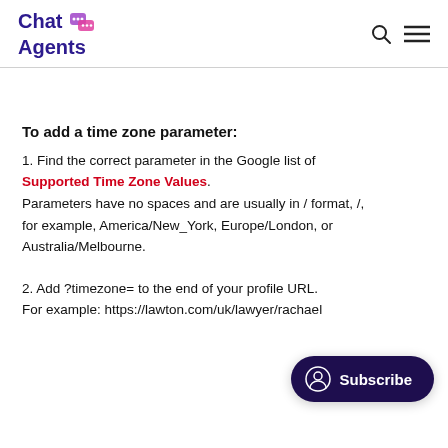Chat Agents
To add a time zone parameter:
1. Find the correct parameter in the Google list of Supported Time Zone Values. Parameters have no spaces and are usually in / format, /, for example, America/New_York, Europe/London, or Australia/Melbourne.
2. Add ?timezone= to the end of your profile URL. For example: https://lawton.com/uk/lawyer/rachael